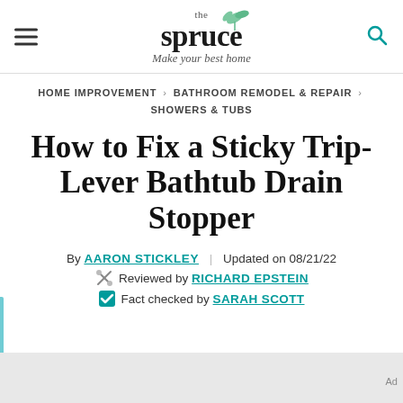the spruce — Make your best home
HOME IMPROVEMENT > BATHROOM REMODEL & REPAIR > SHOWERS & TUBS
How to Fix a Sticky Trip-Lever Bathtub Drain Stopper
By AARON STICKLEY | Updated on 08/21/22
Reviewed by RICHARD EPSTEIN
Fact checked by SARAH SCOTT